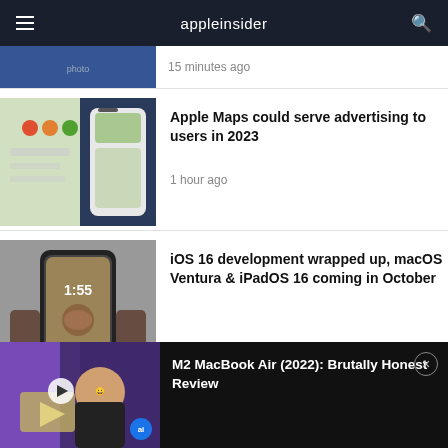appleinsider
15 minutes ago
Apple Maps could serve advertising to users in 2023
1 hour ago
iOS 16 development wrapped up, macOS Ventura & iPadOS 16 coming in October
6 hours ago
M2 MacBook Air (2022): Brutally Honest Review